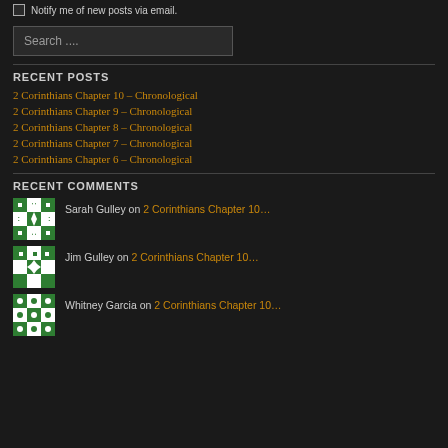Notify me of new posts via email.
Search ....
RECENT POSTS
2 Corinthians Chapter 10 – Chronological
2 Corinthians Chapter 9 – Chronological
2 Corinthians Chapter 8 – Chronological
2 Corinthians Chapter 7 – Chronological
2 Corinthians Chapter 6 – Chronological
RECENT COMMENTS
Sarah Gulley on 2 Corinthians Chapter 10…
Jim Gulley on 2 Corinthians Chapter 10…
Whitney Garcia on 2 Corinthians Chapter 10…